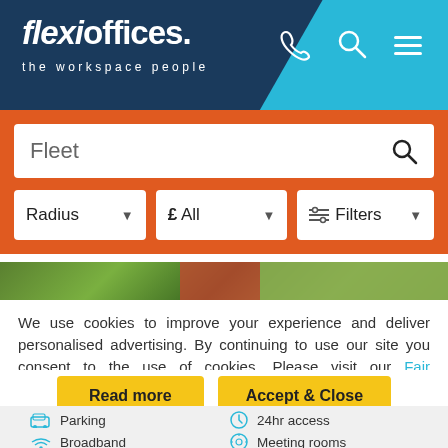[Figure (logo): Flexioffices logo - 'flexioffices. the workspace people' on dark navy background with cyan accent, phone, search and menu icons]
[Figure (screenshot): Search interface with 'Fleet' in search box, and three filter dropdowns: Radius, £ All, and Filters]
We use cookies to improve your experience and deliver personalised advertising. By continuing to use our site you consent to the use of cookies. Please visit our Fair Processing Notice and our Cookie Policy to learn more.
Read more
Accept & Close
Parking
24hr access
Broadband
Meeting rooms
Furnished
Air conditioning